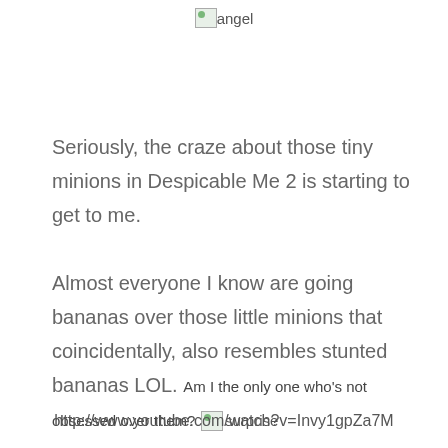[Figure (illustration): Broken image placeholder with alt text 'angel' centered at top of page]
Seriously, the craze about those tiny minions in Despicable Me 2 is starting to get to me.

Almost everyone I know are going bananas over those little minions that coincidentally, also resembles stunted bananas LOL. Am I the only one who's not obsessed over them? [surprise emoji image]
http://www.youtube.com/watch?v=Invy1gpZa7M